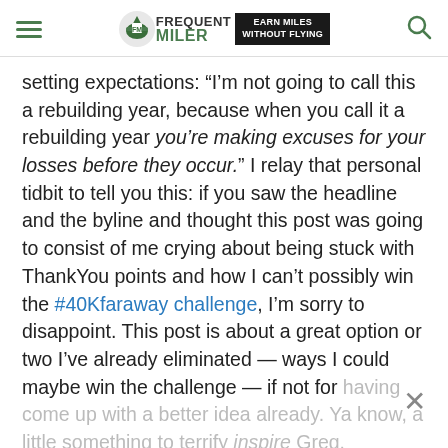FREQUENT MILER | EARN MILES WITHOUT FLYING
setting expectations: “I’m not going to call this a rebuilding year, because when you call it a rebuilding year you’re making excuses for your losses before they occur.” I relay that personal tidbit to tell you this: if you saw the headline and the byline and thought this post was going to consist of me crying about being stuck with ThankYou points and how I can’t possibly win the #40Kfaraway challenge, I’m sorry to disappoint. This post is about a great option or two I’ve already eliminated — ways I could maybe win the challenge — if not for having come up with a better idea already. Ya know, a little something to terrify inspire Greg.